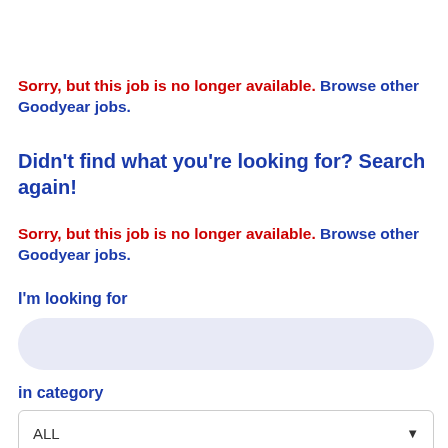Sorry, but this job is no longer available. Browse other Goodyear jobs.
Didn't find what you're looking for? Search again!
Sorry, but this job is no longer available. Browse other Goodyear jobs.
I'm looking for
in category
ALL
within